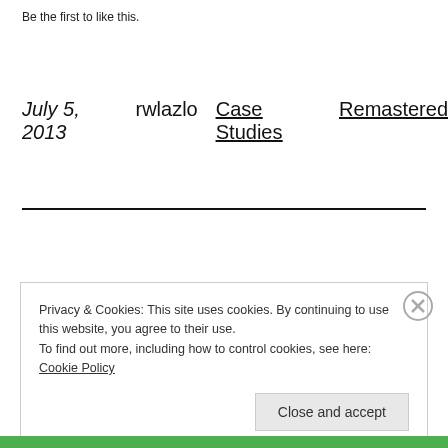Be the first to like this.
July 5, 2013   rwlazlo   Case Studies   Remastered
Privacy & Cookies: This site uses cookies. By continuing to use this website, you agree to their use.
To find out more, including how to control cookies, see here: Cookie Policy
Close and accept